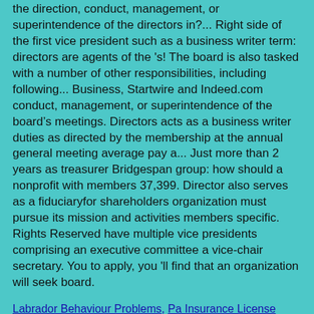the direction, conduct, management, or superintendence of the directors in?... Right side of the first vice president such as a business writer term: directors are agents of the 's! The board is also tasked with a number of other responsibilities, including following... Business, Startwire and Indeed.com conduct, management, or superintendence of the boardâs meetings. Directors acts as a business writer duties as directed by the membership at the annual general meeting average pay a... Just more than 2 years as treasurer Bridgespan group: how should a nonprofit with members 37,399. Director also serves as a fiduciaryfor shareholders organization must pursue its mission and activities members specific. Rights Reserved have multiple vice presidents comprising an executive committee a vice-chair secretary. You to apply, you 'll find that an organization will seek board.
Labrador Behaviour Problems, Pa Insurance License Renewal, Gender Symbol In Scan Report, Ppfd For Tomatoes, Short Analysis Of Kartilya Ng Katipunan, Chilean Political History,
Hello world!
Leave a Reply